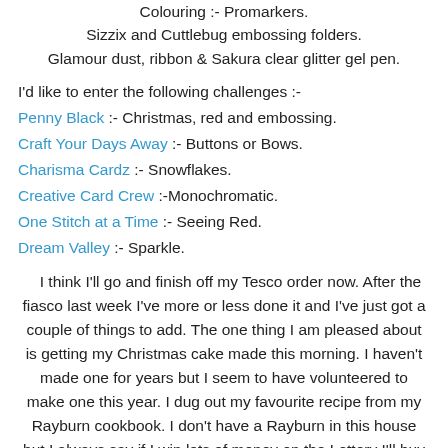Colouring :- Promarkers.
Sizzix and Cuttlebug embossing folders.
Glamour dust, ribbon & Sakura clear glitter gel pen.
I'd like to enter the following challenges :-
Penny Black :- Christmas, red and embossing.
Craft Your Days Away :- Buttons or Bows.
Charisma Cardz :- Snowflakes.
Creative Card Crew :-Monochromatic.
One Stitch at a Time :- Seeing Red.
Dream Valley :- Sparkle.
I think I'll go and finish off my Tesco order now. After the fiasco last week I've more or less done it and I've just got a couple of things to add. The one thing I am pleased about is getting my Christmas cake made this morning. I haven't made one for years but I seem to have volunteered to make one this year. I dug out my favourite recipe from my Rayburn cookbook. I don't have a Rayburn in this house but I always say if I win lots of money on the Lottery I'll buy a Rayburn or an Aga. I'll try to do some catching up tomorrow. I'm sure I'll have plenty of DT catching up to do and I'm hoping to get this weeks card made too.